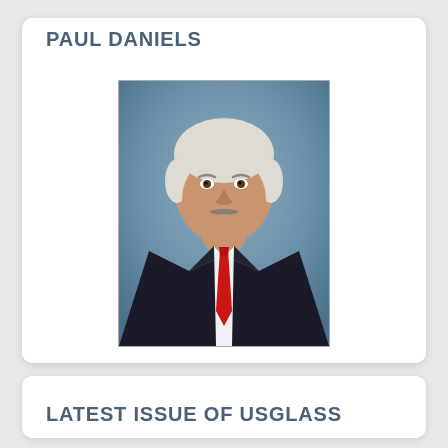PAUL DANIELS
[Figure (photo): Portrait photo of Paul Daniels, an older man with white hair and mustache, wearing a dark suit with white shirt and red tie, against a blue-grey background.]
LATEST ISSUE OF USGLASS